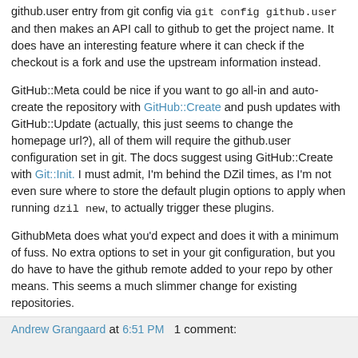github.user entry from git config via git config github.user and then makes an API call to github to get the project name. It does have an interesting feature where it can check if the checkout is a fork and use the upstream information instead.
GitHub::Meta could be nice if you want to go all-in and auto-create the repository with GitHub::Create and push updates with GitHub::Update (actually, this just seems to change the homepage url?), all of them will require the github.user configuration set in git. The docs suggest using GitHub::Create with Git::Init. I must admit, I'm behind the DZil times, as I'm not even sure where to store the default plugin options to apply when running dzil new, to actually trigger these plugins.
GithubMeta does what you'd expect and does it with a minimum of fuss. No extra options to set in your git configuration, but you do have to have the github remote added to your repo by other means. This seems a much slimmer change for existing repositories.
Andrew Grangaard at 6:51 PM   1 comment: